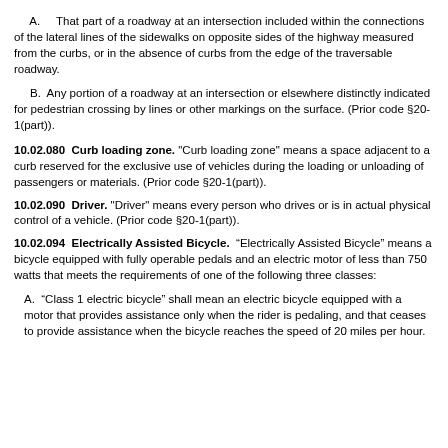A.    That part of a roadway at an intersection included within the connections of the lateral lines of the sidewalks on opposite sides of the highway measured from the curbs, or in the absence of curbs from the edge of the traversable roadway.
B.  Any portion of a roadway at an intersection or elsewhere distinctly indicated for pedestrian crossing by lines or other markings on the surface. (Prior code §20-1(part)).
10.02.080  Curb loading zone. "Curb loading zone" means a space adjacent to a curb reserved for the exclusive use of vehicles during the loading or unloading of passengers or materials. (Prior code §20-1(part)).
10.02.090  Driver. "Driver" means every person who drives or is in actual physical control of a vehicle. (Prior code §20-1(part)).
10.02.094  Electrically Assisted Bicycle.  “Electrically Assisted Bicycle” means a bicycle equipped with fully operable pedals and an electric motor of less than 750 watts that meets the requirements of one of the following three classes:
A.  “Class 1 electric bicycle” shall mean an electric bicycle equipped with a motor that provides assistance only when the rider is pedaling, and that ceases to provide assistance when the bicycle reaches the speed of 20 miles per hour.